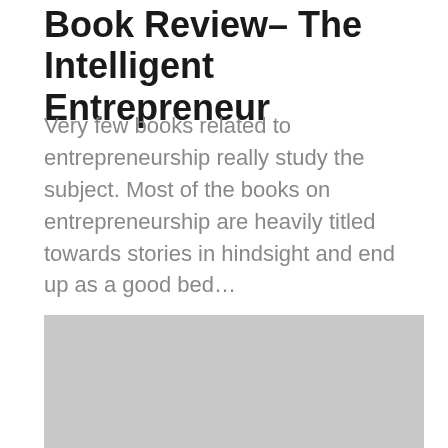Book Review– The Intelligent Entrepreneur
Very few books related to entrepreneurship really study the subject. Most of the books on entrepreneurship are heavily titled towards stories in hindsight and end up as a good bed…
[Figure (other): Gray placeholder image block with two dark tag buttons labeled BOOKS and STARTUP RESOURCES]